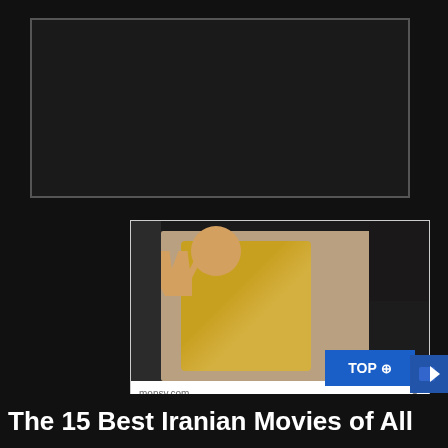[Figure (photo): Dark background area with a bordered box at the top of the page, part of a webpage screenshot]
[Figure (screenshot): Advertisement card from monsy.com showing a woman in a yellow jacket waving from inside a car. Ad title reads 'Princess Diana Last Photo Will Break Your Heart'. Includes a close (X) button and source label.]
The 15 Best Iranian Movies of All